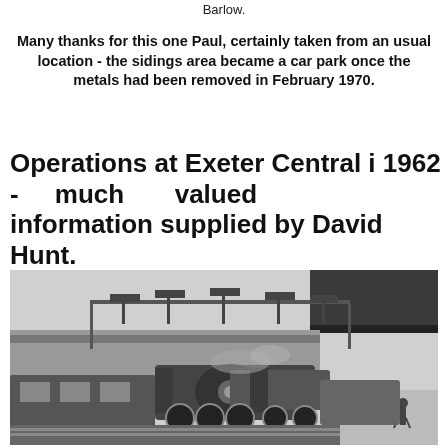Barlow.
Many thanks for this one Paul, certainly taken from an usual location - the sidings area became a car park once the metals had been removed in February 1970.
Operations at Exeter Central i 1962 - much valued information supplied by David Hunt.
[Figure (photo): Black and white photograph of a steam locomotive at Exeter Central station, showing semaphore signals on a gantry above, platform canopy on the right, and a person walking on the platform.]